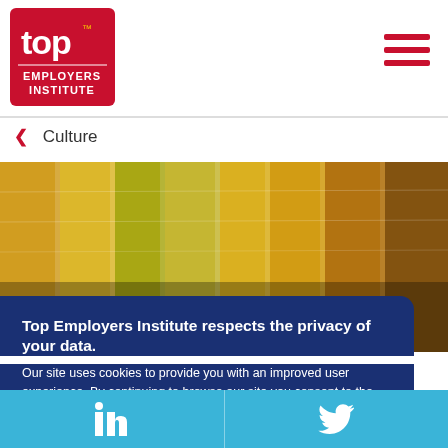[Figure (logo): Top Employers Institute logo — red square with white 'top' text and 'EMPLOYERS INSTITUTE' text below]
[Figure (other): Hamburger menu icon (three horizontal red lines)]
< Culture
[Figure (photo): Photo of colorful stacked folders/papers on shelves]
Top Employers Institute respects the privacy of your data.
Our site uses cookies to provide you with an improved user experience. By continuing to browse our site you consent to the use of cookies. Please visit our privacy statement and our cookie policy.
I understand
[Figure (illustration): LinkedIn and Twitter social media icons in light blue footer bar]